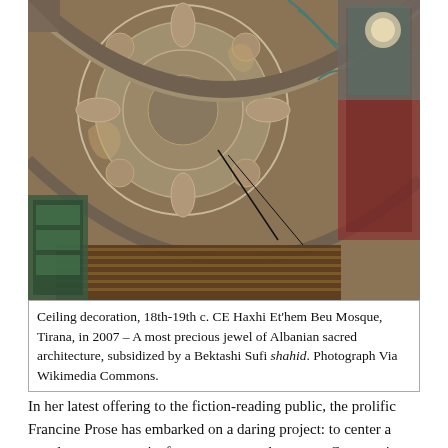[Figure (photo): Interior ceiling decoration of Haxhi Et'hem Beu Mosque in Tirana, featuring ornate 18th-19th century CE Islamic patterns with curved arches, intricate painted floral and geometric designs in muted earth tones, red, and teal. Decorative wooden furniture and a balcony railing are visible below.]
Ceiling decoration, 18th-19th c. CE Haxhi Et'hem Beu Mosque, Tirana, in 2007 – A most precious jewel of Albanian sacred architecture, subsidized by a Bektashi Sufi shahid. Photograph Via Wikimedia Commons.
In her latest offering to the fiction-reading public, the prolific Francine Prose has embarked on a daring project: to center a novel on a protagonist from a remote culture—ex-Communist Albania—about which the author knows very little. My New American Life describes a series of episodes experienced by a character whose personality and surroundings, both past and present, seem deliberately ill-defined and disjointed.
The principal figure of the novel, Lula, is a twenty-six-year-old Albanian immigrant woman who once served as an illegally